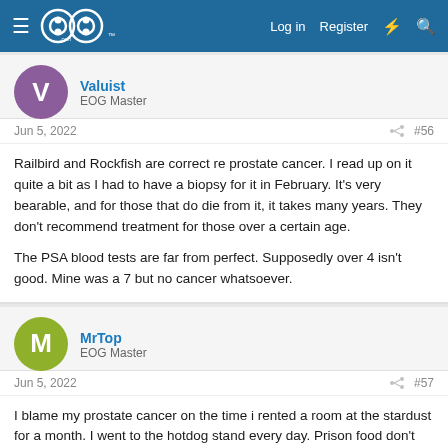GOG.com - Log in  Register
Valuist
EOG Master
Jun 5, 2022  #56
Railbird and Rockfish are correct re prostate cancer. I read up on it quite a bit as I had to have a biopsy for it in February. It's very bearable, and for those that do die from it, it takes many years. They don't recommend treatment for those over a certain age.

The PSA blood tests are far from perfect. Supposedly over 4 isn't good. Mine was a 7 but no cancer whatsoever.
MrTop
EOG Master
Jun 5, 2022  #57
I blame my prostate cancer on the time i rented a room at the stardust for a month. I went to the hotdog stand every day. Prison food don't help either